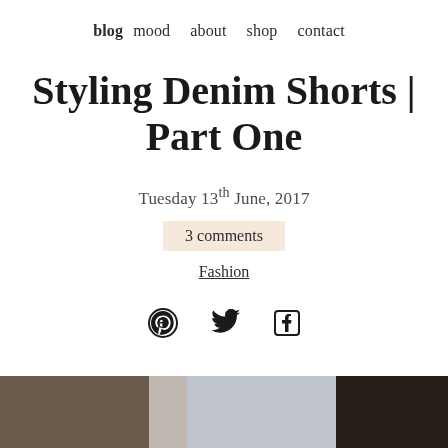blog  mood  about  shop  contact
Styling Denim Shorts | Part One
Tuesday 13th June, 2017
3 comments
Fashion
[Figure (other): Social media icons: Pinterest, Twitter, Facebook]
[Figure (photo): Partial photograph of person in denim shorts, partially visible at bottom of page]